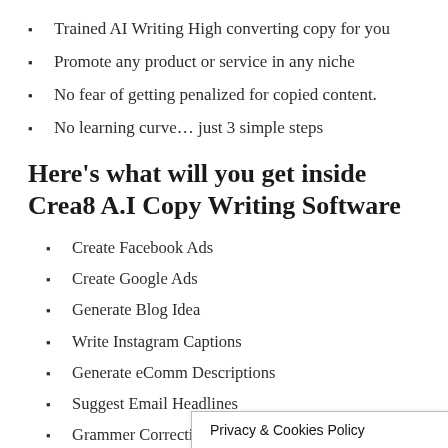Trained AI Writing High converting copy for you
Promote any product or service in any niche
No fear of getting penalized for copied content.
No learning curve… just 3 simple steps
Here's what will you get inside Crea8 A.I Copy Writing Software
Create Facebook Ads
Create Google Ads
Generate Blog Idea
Write Instagram Captions
Generate eComm Descriptions
Suggest Email Headlines
Grammer Correction
Content Briefin…
Privacy & Cookies Policy